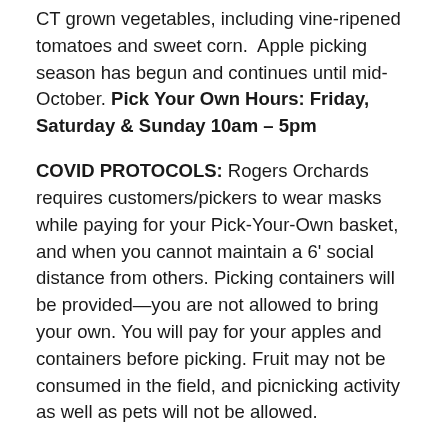CT grown vegetables, including vine-ripened tomatoes and sweet corn. Apple picking season has begun and continues until mid-October. Pick Your Own Hours: Friday, Saturday & Sunday 10am – 5pm
COVID PROTOCOLS: Rogers Orchards requires customers/pickers to wear masks while paying for your Pick-Your-Own basket, and when you cannot maintain a 6' social distance from others. Picking containers will be provided—you are not allowed to bring your own. You will pay for your apples and containers before picking. Fruit may not be consumed in the field, and picnicking activity as well as pets will not be allowed.